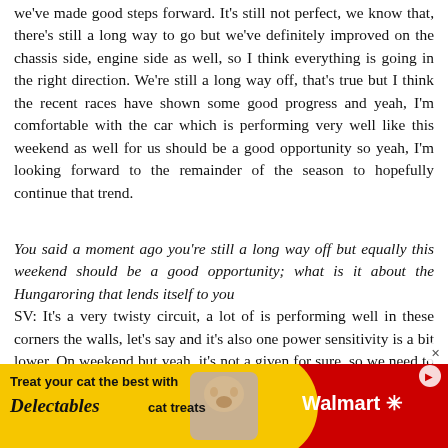we've made good steps forward. It's still not perfect, we know that, there's still a long way to go but we've definitely improved on the chassis side, engine side as well, so I think everything is going in the right direction. We're still a long way off, that's true but I think the recent races have shown some good progress and yeah, I'm comfortable with the car which is performing very well like this weekend as well for us should be a good opportunity so yeah, I'm looking forward to the remainder of the season to hopefully continue that trend.
You said a moment ago you're still a long way off but equally this weekend should be a good opportunity; what is it about the Hungaroring that lends itself to you SV: It's a very twisty circuit, a lot of is performing well in these corners the walls, let's say and it's also one power sensitivity is a bit lower. On weekend but yeah, it's not a given for sure, so we need to be
[Figure (screenshot): Black video player overlay with a white loading circle spinner, partially overlapping the article text on the right side]
[Figure (photo): Advertisement banner at the bottom: yellow and red background. Left side shows 'Treat your cat the best with Delectables cat treats' text with a cat image. Right side shows Walmart logo on red background.]